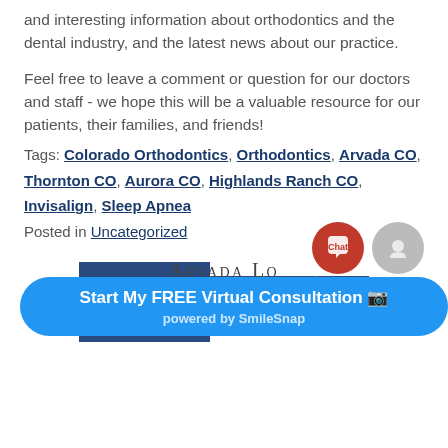and interesting information about orthodontics and the dental industry, and the latest news about our practice.
Feel free to leave a comment or question for our doctors and staff - we hope this will be a valuable resource for our patients, their families, and friends!
Tags: Colorado Orthodontics, Orthodontics, Arvada CO, Thornton CO, Aurora CO, Highlands Ranch CO, Invisalign, Sleep Apnea
Posted in Uncategorized
« PREVIOUS  1  2  3
Start My FREE Virtual Consultation 📷 powered by SmileSnap
Arvada Lo...